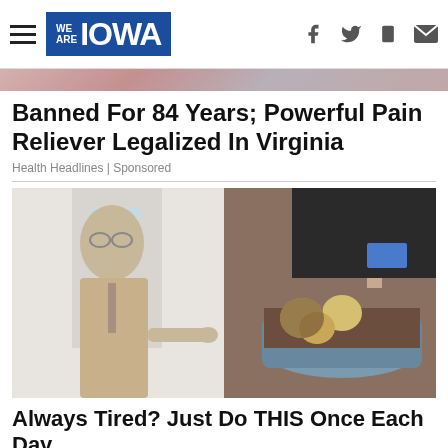WE ARE IOWA
[Figure (photo): Top partial image strip showing decorative/person element in reddish-pink tones]
Banned For 84 Years; Powerful Pain Reliever Legalized In Virginia
Health Headlines | Sponsored
[Figure (photo): Split image: left side shows an older doctor in a beige suit pointing at something; right side shows hands breaking open a chocolate or food item over a bowl of dirt/soil mixture]
Always Tired? Just Do THIS Once Each Day